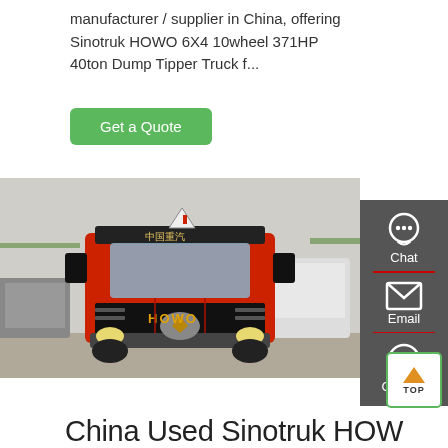manufacturer / supplier in China, offering Sinotruk HOWO 6X4 10wheel 371HP 40ton Dump Tipper Truck f...
Get a Quote
[Figure (photo): Front view of a red Sinotruk HOWO truck in a vehicle lot, with other trucks visible in the background]
[Figure (infographic): Sidebar with Chat, Email, and Contact buttons on dark gray background]
[Figure (other): TOP button with upward orange arrow]
China Used Sinotruk HOW